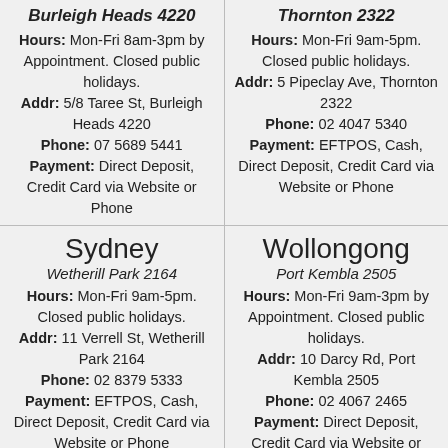Burleigh Heads 4220
Hours: Mon-Fri 8am-3pm by Appointment. Closed public holidays. Addr: 5/8 Taree St, Burleigh Heads 4220 Phone: 07 5689 5441 Payment: Direct Deposit, Credit Card via Website or Phone
Thornton 2322
Hours: Mon-Fri 9am-5pm. Closed public holidays. Addr: 5 Pipeclay Ave, Thornton 2322 Phone: 02 4047 5340 Payment: EFTPOS, Cash, Direct Deposit, Credit Card via Website or Phone
Sydney
Wetherill Park 2164
Hours: Mon-Fri 9am-5pm. Closed public holidays. Addr: 11 Verrell St, Wetherill Park 2164 Phone: 02 8379 5333 Payment: EFTPOS, Cash, Direct Deposit, Credit Card via Website or Phone
Wollongong
Port Kembla 2505
Hours: Mon-Fri 9am-3pm by Appointment. Closed public holidays. Addr: 10 Darcy Rd, Port Kembla 2505 Phone: 02 4067 2465 Payment: Direct Deposit, Credit Card via Website or Phone
Melbourne
Adelaide